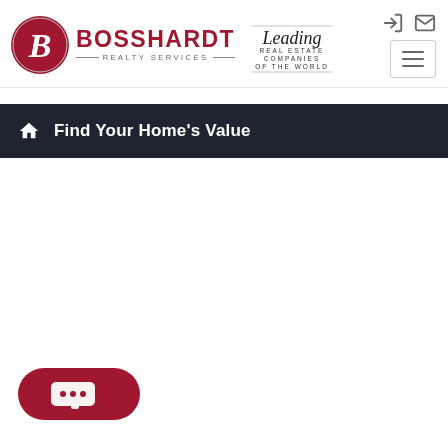[Figure (logo): Bosshardt Realty Services logo with red circular B emblem and Leading Real Estate Companies of the World logo]
[Figure (logo): Menu hamburger button icon and user/mail icons in top right corner]
Find Your Home's Value
[Figure (other): Chat bubble button in bottom left corner]